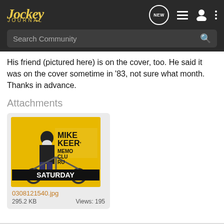Jockey Journal — NEW, list, profile, more icons; Search Community bar
His friend (pictured here) is on the cover, too. He said it was on the cover sometime in '83, not sure what month. Thanks in advance.
Attachments
[Figure (photo): Attachment thumbnail: A yellow poster/flyer showing a bearded man on a chopper motorcycle with text 'MIKE KEER MEMO CLU RU SATURDAY']
0308121540.jpg
295.2 KB    Views: 195